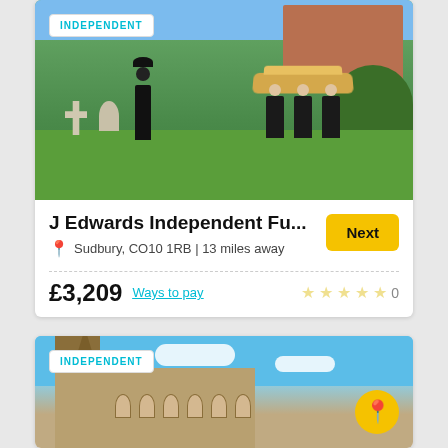[Figure (photo): Funeral procession in a churchyard with pallbearers carrying a coffin with flowers, gravestones and trees visible, with 'INDEPENDENT' badge overlay]
J Edwards Independent Fu...
Sudbury, CO10 1RB | 13 miles away
£3,209  Ways to pay   0
[Figure (photo): Gothic church building with tower and spire against blue sky with clouds, with 'INDEPENDENT' badge overlay and yellow location pin circle]